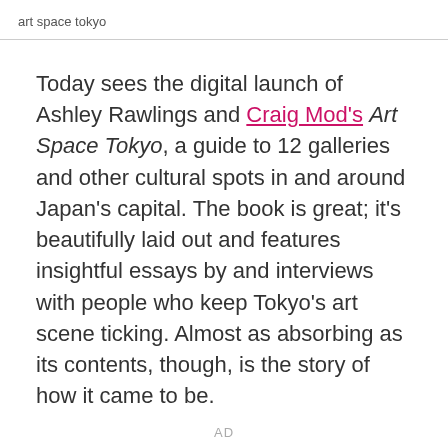art space tokyo
Today sees the digital launch of Ashley Rawlings and Craig Mod's Art Space Tokyo, a guide to 12 galleries and other cultural spots in and around Japan's capital. The book is great; it's beautifully laid out and features insightful essays by and interviews with people who keep Tokyo's art scene ticking. Almost as absorbing as its contents, though, is the story of how it came to be.
AD